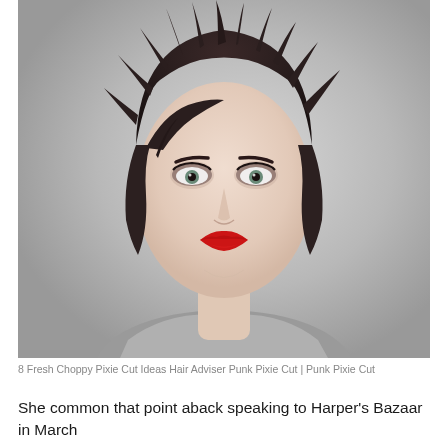[Figure (photo): Portrait photograph of a young woman with a short choppy pixie cut hairstyle, dark brown hair with textured spiky layers, wearing bold red lipstick, smoky eye makeup, gray background]
8 Fresh Choppy Pixie Cut Ideas Hair Adviser Punk Pixie Cut | Punk Pixie Cut
She common that point aback speaking to Harper's Bazaar in March